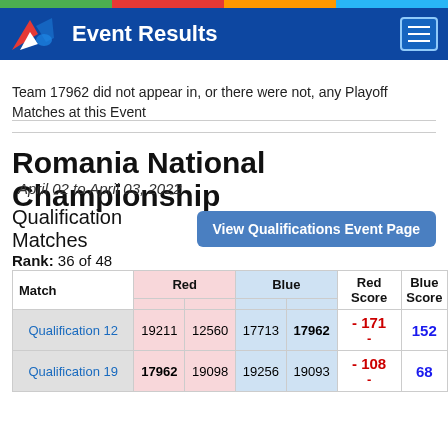Event Results
Team 17962 did not appear in, or there were not, any Playoff Matches at this Event
Romania National Championship
April 02 to April 03, 2022
Qualification Matches
Rank: 36 of 48
| Match | Red |  | Blue |  | Red Score | Blue Score |
| --- | --- | --- | --- | --- | --- | --- |
| Qualification 12 | 19211 | 12560 | 17713 | 17962 | - 171 - | 152 |
| Qualification 19 | 17962 | 19098 | 19256 | 19093 | - 108 - | 68 |